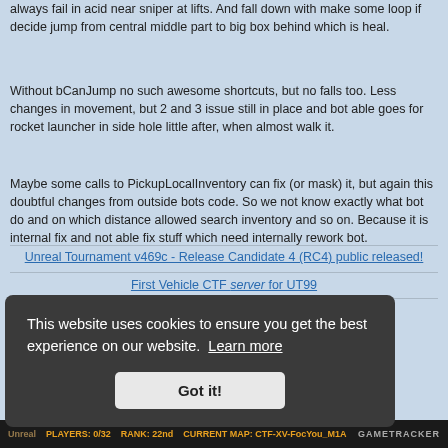always fail in acid near sniper at lifts. And fall down with make some loop if decide jump from central middle part to big box behind which is heal.
Without bCanJump no such awesome shortcuts, but no falls too. Less changes in movement, but 2 and 3 issue still in place and bot able goes for rocket launcher in side hole little after, when almost walk it.
Maybe some calls to PickupLocalInventory can fix (or mask) it, but again this doubtful changes from outside bots code. So we not know exactly what bot do and on which distance allowed search inventory and so on. Because it is internal fix and not able fix stuff which need internally rework bot.
Unreal Tournament v469c - Release Candidate 4 (RC4) public released!
First Vehicle CTF server for UT99
This website uses cookies to ensure you get the best experience on our website. Learn more
Got it!